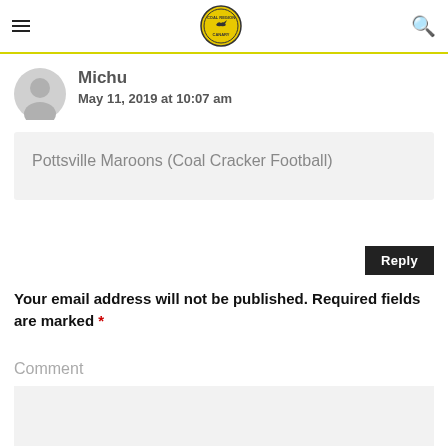Coal Region Canary site header with hamburger menu, logo, and search icon
Michu
May 11, 2019 at 10:07 am
Pottsville Maroons (Coal Cracker Football)
Reply
Your email address will not be published. Required fields are marked *
Comment